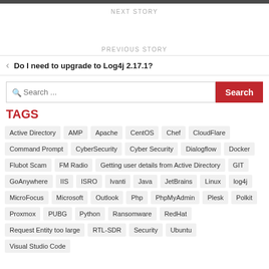NEXT STORY
PREVIOUS STORY
Do I need to upgrade to Log4j 2.17.1?
TAGS
Active Directory
AMP
Apache
CentOS
Chef
CloudFlare
Command Prompt
CyberSecurity
Cyber Security
Dialogflow
Docker
Flubot Scam
FM Radio
Getting user details from Active Directory
GIT
GoAnywhere
IIS
ISRO
Ivanti
Java
JetBrains
Linux
log4j
MicroFocus
Microsoft
Outlook
Php
PhpMyAdmin
Plesk
Polkit
Proxmox
PUBG
Python
Ransomware
RedHat
Request Entity too large
RTL-SDR
Security
Ubuntu
Visual Studio Code